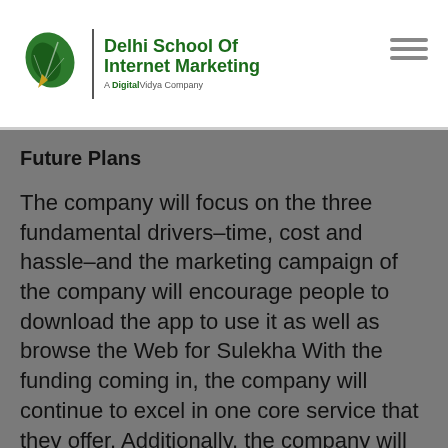Delhi School Of Internet Marketing — A DigitalVidya Company
Future Plans
The company will focus on the three fundamental drivers–time, cost and hassle–and the marketing campaign of the company will encourage people to download the app to use it as well as browse the Web for Sulekha With the funding coming in, the company will continue to excel in one core service that they offer. Additionally, the company will expand its footprint to more cities and